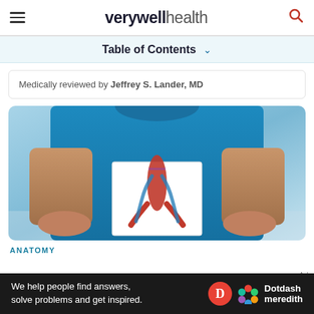verywell health
Table of Contents
Medically reviewed by Jeffrey S. Lander, MD
[Figure (photo): Person in blue shirt holding an anatomical diagram of abdominal aorta/vascular system]
ANATOMY
We help people find answers, solve problems and get inspired.
Dotdash meredith